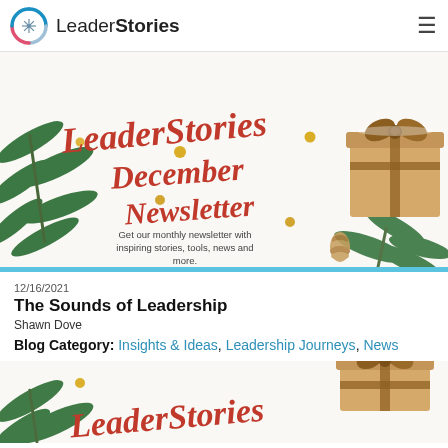LeaderStories
[Figure (illustration): LeaderStories December Newsletter banner image with holiday decorations — pine branches, wrapped gifts with ribbon, gold pinecones and ornaments on white background. Red cursive script text reads 'LeaderStories December Newsletter'. Subtitle text: 'Get our monthly newsletter with inspiring stories, tools, news and more.']
12/16/2021
The Sounds of Leadership
Shawn Dove
Blog Category: Insights & Ideas, Leadership Journeys, News
[Figure (illustration): Partial second appearance of the LeaderStories newsletter banner — showing pine branches, wrapped gift, and partial red cursive 'LeaderStories' text at bottom of page.]